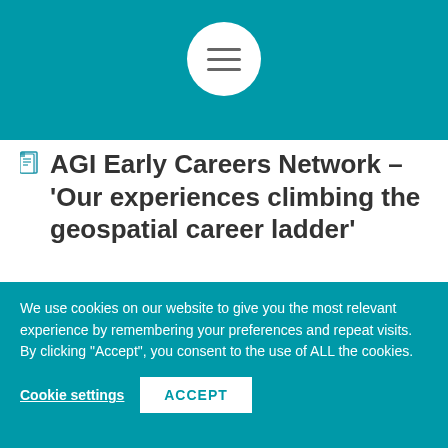[Figure (other): Teal header bar with white circular hamburger menu icon containing three horizontal lines]
AGI Early Careers Network – 'Our experiences climbing the geospatial career ladder'
[Figure (other): Preview image box showing a gray avatar circle, a vertical divider line, and partial teal text reading 'EARLY']
We use cookies on our website to give you the most relevant experience by remembering your preferences and repeat visits. By clicking "Accept", you consent to the use of ALL the cookies.
Cookie settings   ACCEPT